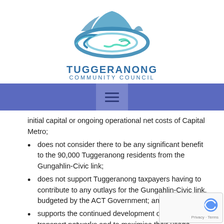[Figure (logo): Tuggeranong Community Council logo: blue mountain silhouette above teal/blue swirl/oval shape]
TUGGERANONG COMMUNITY COUNCIL
initial capital or ongoing operational net costs of Capital Metro;
does not consider there to be any significant benefit to the 90,000 Tuggeranong residents from the Gungahlin-Civic link;
does not support Tuggeranong taxpayers having to contribute to any outlays for the Gungahlin-Civic link, budgeted by the ACT Government; and
supports the continued development of public transport networks and to maximise their usage,